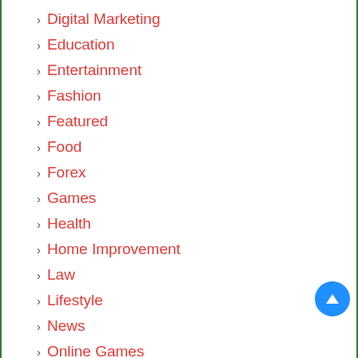Digital Marketing
Education
Entertainment
Fashion
Featured
Food
Forex
Games
Health
Home Improvement
Law
Lifestyle
News
Online Games